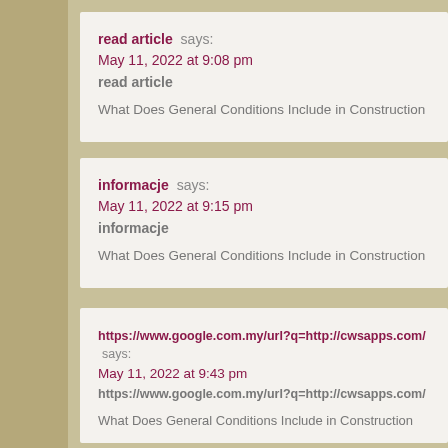read article says: May 11, 2022 at 9:08 pm
read article
What Does General Conditions Include in Construction
informacje says: May 11, 2022 at 9:15 pm
informacje
What Does General Conditions Include in Construction
https://www.google.com.my/url?q=http://cwsapps.com/ says: May 11, 2022 at 9:43 pm
https://www.google.com.my/url?q=http://cwsapps.com/
What Does General Conditions Include in Construction
http://foreverpuzzleswayrelease.blogthisbiz.com/14600671/we-v confused-about-today-s-slot-version says: